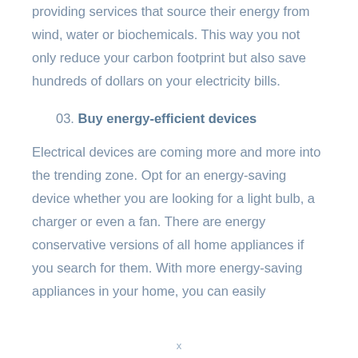providing services that source their energy from wind, water or biochemicals. This way you not only reduce your carbon footprint but also save hundreds of dollars on your electricity bills.
03. Buy energy-efficient devices
Electrical devices are coming more and more into the trending zone. Opt for an energy-saving device whether you are looking for a light bulb, a charger or even a fan. There are energy conservative versions of all home appliances if you search for them. With more energy-saving appliances in your home, you can easily
x